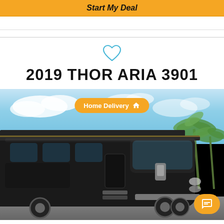Start My Deal
[Figure (photo): Photo of a 2019 Thor Aria 3901 large black motorhome RV parked outdoors with palm trees and blue sky in background. A 'Home Delivery' orange badge overlays the top center of the image.]
2019 THOR ARIA 3901